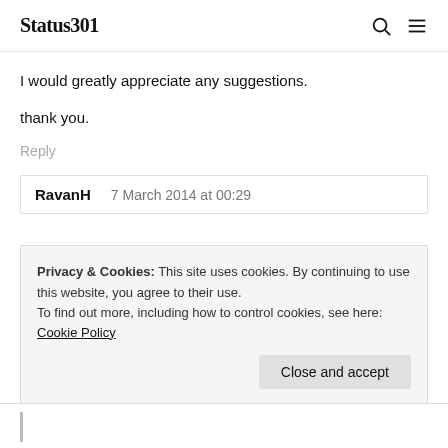Status301
I would greatly appreciate any suggestions.
thank you.
Reply
RavanH   7 March 2014 at 00:29
Privacy & Cookies: This site uses cookies. By continuing to use this website, you agree to their use.
To find out more, including how to control cookies, see here: Cookie Policy
Close and accept